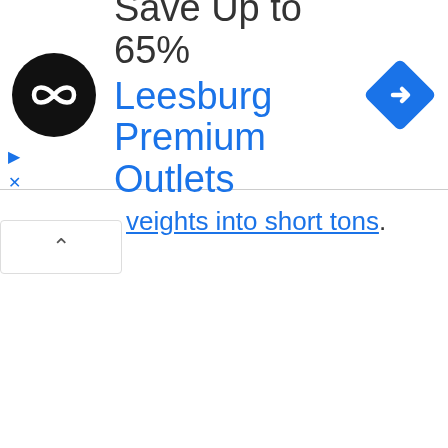[Figure (infographic): Advertisement banner: black circular logo with infinity-like symbol, text 'Save Up to 65%' in dark gray, 'Leesburg Premium Outlets' in blue, and a blue diamond navigation arrow icon on the right.]
veights into short tons.